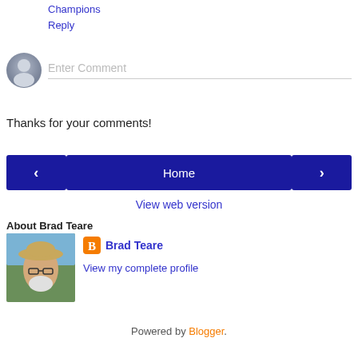Champions
Reply
[Figure (other): Comment input field with generic user avatar icon and placeholder text 'Enter Comment']
Thanks for your comments!
[Figure (other): Navigation bar with left arrow button, Home button, and right arrow button]
View web version
About Brad Teare
[Figure (photo): Photo of Brad Teare wearing a straw hat outdoors]
Brad Teare
View my complete profile
Powered by Blogger.